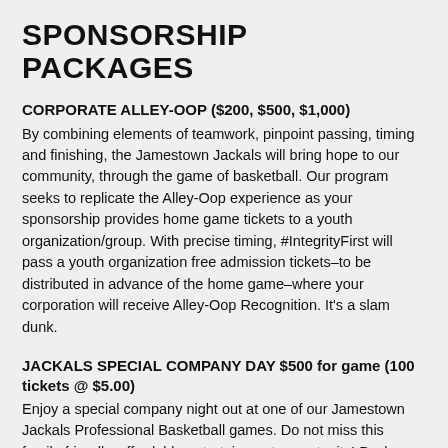SPONSORSHIP PACKAGES
CORPORATE ALLEY-OOP ($200, $500, $1,000)
By combining elements of teamwork, pinpoint passing, timing and finishing, the Jamestown Jackals will bring hope to our community, through the game of basketball. Our program seeks to replicate the Alley-Oop experience as your sponsorship provides home game tickets to a youth organization/group. With precise timing, #IntegrityFirst will pass a youth organization free admission tickets–to be distributed in advance of the home game–where your corporation will receive Alley-Oop Recognition. It's a slam dunk.
JACKALS SPECIAL COMPANY DAY $500 for game (100 tickets @ $5.00)
Enjoy a special company night out at one of our Jamestown Jackals Professional Basketball games. Do not miss this family-friendly, affordable entertainment opportunity! Package